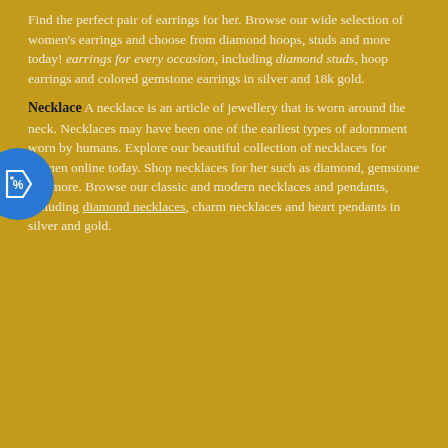Find the perfect pair of earrings for her. Browse our wide selection of women's earrings and choose from diamond hoops, studs and more today! earrings for every occasion, including diamond studs, hoop earrings and colored gemstone earrings in silver and 18k gold.
[Figure (illustration): Blue circular badge/icon with a price tag symbol containing a percent sign]
Necklace A necklace is an article of jewellery that is worn around the neck. Necklaces may have been one of the earliest types of adornment worn by humans. Explore our beautiful collection of necklaces for women online today. Shop necklaces for her such as diamond, gemstone and more. Browse our classic and modern necklaces and pendants, including diamond necklaces, charm necklaces and heart pendants in silver and gold.